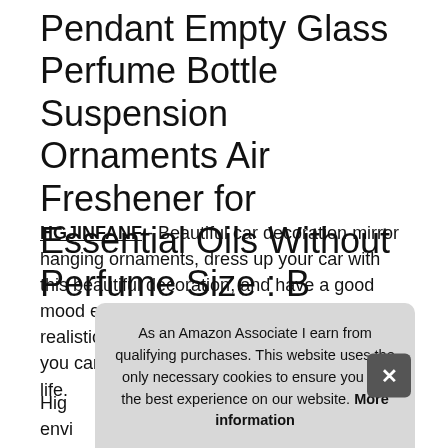Pendant Empty Glass Perfume Bottle Suspension Ornaments Air Freshener for Essential Oils Without Perfume Size : B
HGJINFANF - Beautiful car decoration mirror hanging ornaments, dress up your car with this beautiful decoration, and have a good mood every day when you get in the car. The realistic process is a good decoration choice, you can add more lovely colors to our daily life.
High... envi...
As an Amazon Associate I earn from qualifying purchases. This website uses the only necessary cookies to ensure you get the best experience on our website. More information